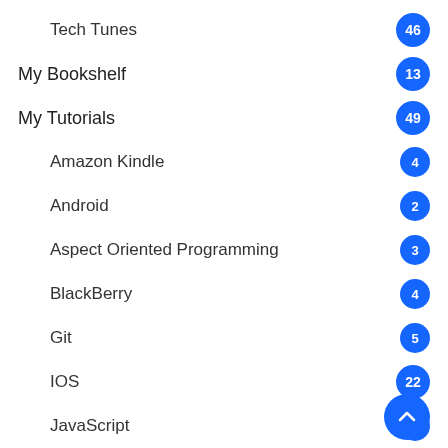Tech Tunes — 46
My Bookshelf — 13
My Tutorials — 49
Amazon Kindle — 4
Android — 2
Aspect Oriented Programming — 3
BlackBerry — 4
Git — 5
IOS — 22
JavaScript — 5
Linux — 2